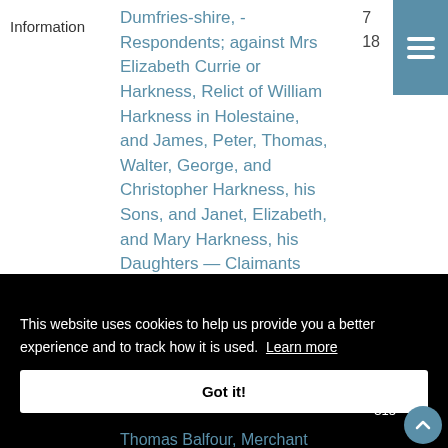Information
Dumfries-shire, - Respondents; against Mrs Elizabeth Currie or Harkness, Relict of William Harkness in Holestaine, and James, Peter, Thomas, Walter, George, and Christopher Harkness, his Sons, and Janet, Elizabeth, and Mary Harkness, his Daughters - Claimants
This website uses cookies to help us provide you a better experience and to track how it is used. Learn more
Got it!
eb
315
Thomas Balfour, Merchant